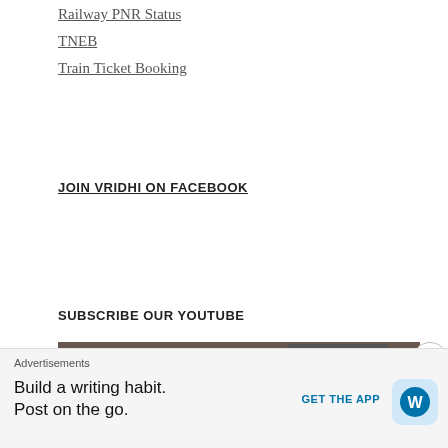Railway PNR Status
TNEB
Train Ticket Booking
JOIN VRIDHI ON FACEBOOK
SUBSCRIBE OUR YOUTUBE
[Figure (screenshot): YouTube video thumbnail showing a person with avatar F, title '190119 VRIDHI VivekKarwa Stoc...' with three-dot menu icon]
Advertisements
Build a writing habit. Post on the go.
GET THE APP